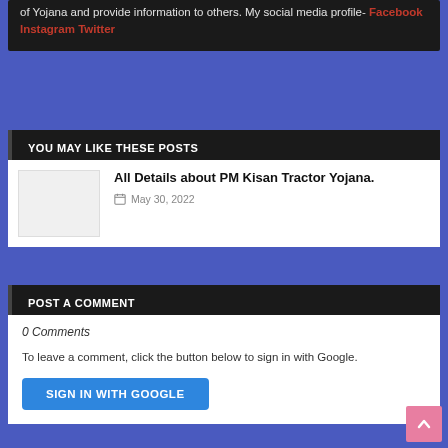of Yojana and provide information to others. My social media profile- Facebook Instagram Twitter
YOU MAY LIKE THESE POSTS
All Details about PM Kisan Tractor Yojana.
May 30, 2022
POST A COMMENT
0 Comments
To leave a comment, click the button below to sign in with Google.
SIGN IN WITH GOOGLE